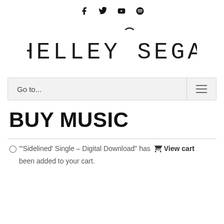Social icons: Facebook, Twitter, YouTube, Spotify
[Figure (logo): Shelley Segal logo in handwritten/custom font with tilde accent over the S in Segal]
Go to...
BUY MUSIC
"'Sidelined' Single – Digital Download" has been added to your cart.  View cart